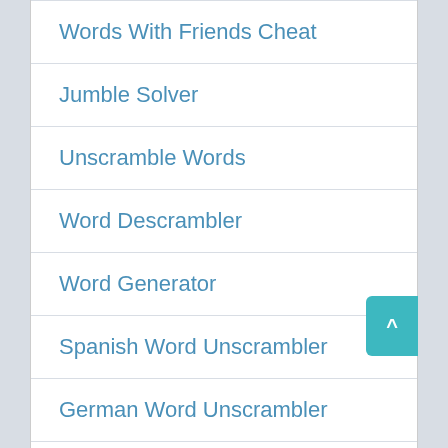Words With Friends Cheat
Jumble Solver
Unscramble Words
Word Descrambler
Word Generator
Spanish Word Unscrambler
German Word Unscrambler
French Word Unscrambler
Multiple Word Unscrambler